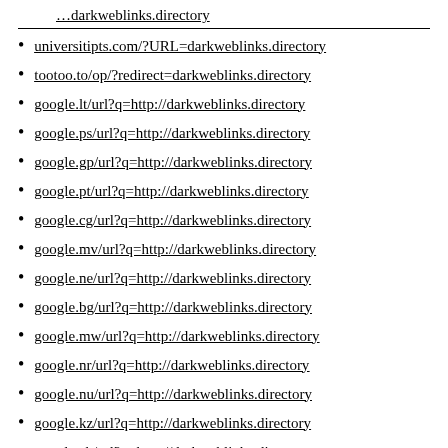universitipts.com/?URL=darkweblinks.directory
tootoo.to/op/?redirect=darkweblinks.directory
google.lt/url?q=http://darkweblinks.directory
google.ps/url?q=http://darkweblinks.directory
google.gp/url?q=http://darkweblinks.directory
google.pt/url?q=http://darkweblinks.directory
google.cg/url?q=http://darkweblinks.directory
google.mv/url?q=http://darkweblinks.directory
google.ne/url?q=http://darkweblinks.directory
google.bg/url?q=http://darkweblinks.directory
google.mw/url?q=http://darkweblinks.directory
google.nr/url?q=http://darkweblinks.directory
google.nu/url?q=http://darkweblinks.directory
google.kz/url?q=http://darkweblinks.directory
google.ch/url?q=http://darkweblinks.directory
google.cc/url?q=http://darkweblinks.directory
google.gl/url?q=http://darkweblinks.directory
google.si/url?q=http://darkweblinks.directory
google.by/url?q=http://darkweblinks.directory